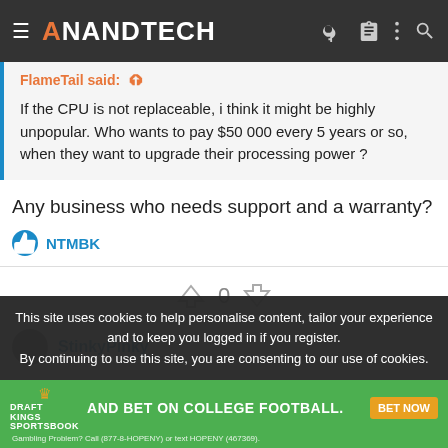AnandTech
FlameTail said: ↑

If the CPU is not replaceable, i think it might be highly unpopular. Who wants to pay $50 000 every 5 years or so, when they want to upgrade their processing power ?
Any business who needs support and a warranty?
NTMBK
0
StinkyPinky
This site uses cookies to help personalise content, tailor your experience and to keep you logged in if you register.
By continuing to use this site, you are consenting to our use of cookies.
[Figure (other): DraftKings Sportsbook advertisement banner - AND BET ON COLLEGE FOOTBALL. BET NOW. Gambling Problem? Call (877-8-HOPENY) or text HOPENY (467369).]